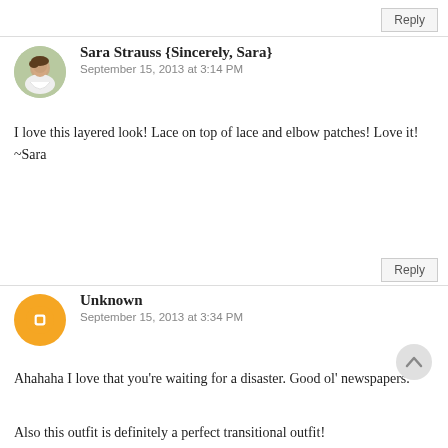Reply
Sara Strauss {Sincerely, Sara}
September 15, 2013 at 3:14 PM
I love this layered look! Lace on top of lace and elbow patches! Love it!
~Sara
Reply
Unknown
September 15, 2013 at 3:34 PM
Ahahaha I love that you're waiting for a disaster. Good ol' newspapers.
Also this outfit is definitely a perfect transitional outfit!